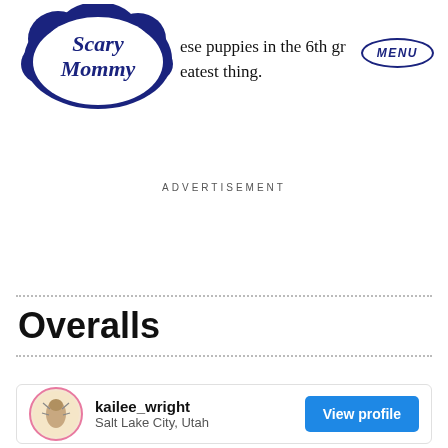[Figure (logo): Scary Mommy logo in dark navy blue, circular cloud-like shape with script text]
ese puppies in the 6th gr eatest thing.
MENU
ADVERTISEMENT
Overalls
kailee_wright
Salt Lake City, Utah
View profile